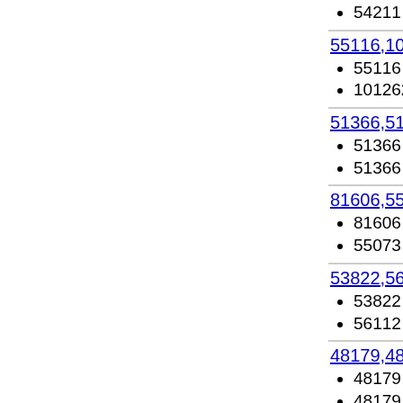54211 - Ribosomal protein S5 domain
55116,101262
55116 - Formiminotransferase domain
101262 - Methenyltetrahydrofolate cyc
51366,51366
51366 - Ribulose-phoshate binding ba
51366 - Ribulose-phoshate binding ba
81606,55073
81606 - PP2C-like
55073 - Nucleotide cyclase
53822,56112
53822 - Periplasmic binding protein-lik
56112 - Protein kinase-like (PK-like)
48179,48179
48179 - 6-phosphogluconate dehydrog
48179 - 6-phosphogluconate dehydrog
48435,53955
48435 - Bacterial muramidases
53955 - Lysozyme-like
74650,49452
74650 - Galactose mutarotase-like
49452 - Starch-binding domain-like
53800,103511